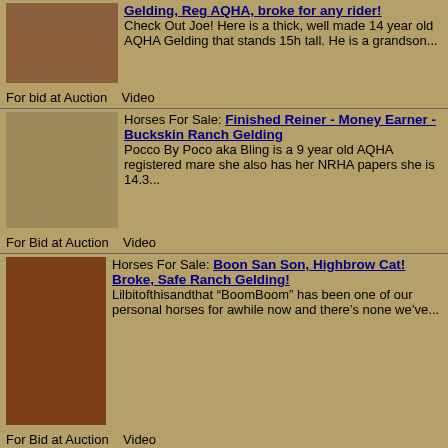Horses For Sale: Gelding, Reg AQHA, broke for any rider! Check Out Joe! Here is a thick, well made 14 year old AQHA Gelding that stands 15h tall. He is a grandson... For bid at Auction   Video
Horses For Sale: Finished Reiner - Money Earner - Buckskin Ranch Gelding Pocco By Poco aka Bling is a 9 year old AQHA registered mare she also has her NRHA papers she is 14.3... For Bid at Auction   Video
Horses For Sale: Boon San Son, Highbrow Cat! Broke, Safe Ranch Gelding! Lilbitofthisandthat "BoomBoom" has been one of our personal horses for awhile now and there's none we've... For Bid at Auction   Video
Horses For Sale: Corona Cartel Bred Gelding - Finished Head Horse - Ranch Horse Deluxe Coronas Foxy Colour "Corona" 10 yo 15.3 AQHA All Around Gelding... Corona will blow you away with his... For Bid at Auction
Horses For Sale: Ranch Cha...